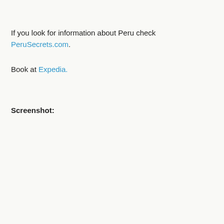If you look for information about Peru check PeruSecrets.com.
Book at Expedia.
Screenshot: